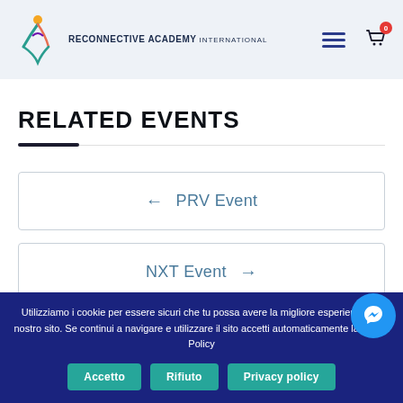[Figure (logo): Reconnective Academy International logo with stylized figure and text]
RELATED EVENTS
← PRV Event
NXT Event →
Utilizziamo i cookie per essere sicuri che tu possa avere la migliore esperienza sul nostro sito. Se continui a navigare e utilizzare il sito accetti automaticamente la nostra Policy
Accetto
Rifiuto
Privacy policy